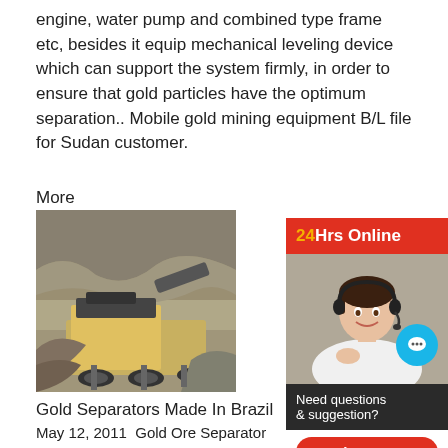engine, water pump and combined type frame etc, besides it equip mechanical leveling device which can support the system firmly, in order to ensure that gold particles have the optimum separation.. Mobile gold mining equipment B/L file for Sudan customer.
More
[Figure (photo): Mining equipment/machinery operating at an open mine site]
Gold Separators Made In Brazil
May 12, 2011  Gold Ore Separator Equip Africa. gold separator machine in south . machine in south africa TON is a leading manufacturer of crushing and milling equ separator [More info] gold mining equipm washer, separator .
[Figure (infographic): 24Hrs Online chat widget with agent photo, 'Need questions & suggestion?' text, Chat Now button, and Enquire bar]